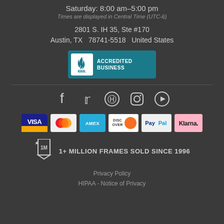Saturday: 8:00 am–5:00 pm
Times are displayed in Central Time (UTC-6)
2801 S. IH 35, Ste #170
Austin, TX  78741-5518  United States
[Figure (logo): BBB Accredited Business badge with teal background and white text]
[Figure (infographic): Social media icons: Facebook, Twitter, Pinterest, Instagram, YouTube]
[Figure (infographic): Payment method icons: Visa, Mastercard, Amex, Discover, PayPal, Klarna]
[Figure (infographic): 1M badge icon with text: 1+ MILLION FRAMES SOLD SINCE 1996]
Privacy Policy
HIPAA - Notice of Privacy